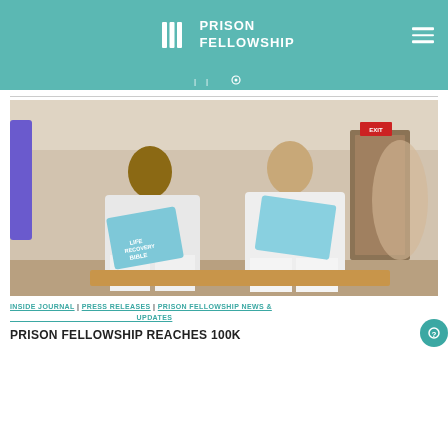PRISON FELLOWSHIP
[Figure (photo): Two men in white prison uniforms sitting and reading blue-covered books labeled 'Life Recovery Bible' in an institutional room.]
INSIDE JOURNAL | PRESS RELEASES | PRISON FELLOWSHIP NEWS & UPDATES
PRISON FELLOWSHIP REACHES 100K